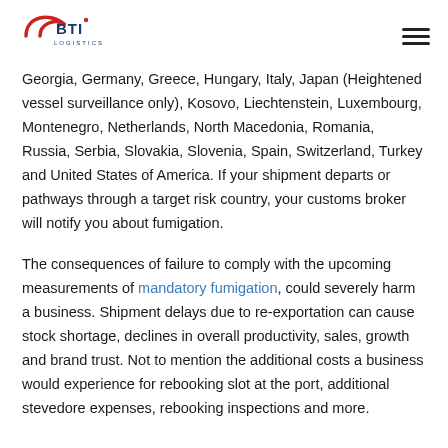BTI Logistics logo and navigation menu
Georgia, Germany, Greece, Hungary, Italy, Japan (Heightened vessel surveillance only), Kosovo, Liechtenstein, Luxembourg, Montenegro, Netherlands, North Macedonia, Romania, Russia, Serbia, Slovakia, Slovenia, Spain, Switzerland, Turkey and United States of America. If your shipment departs or pathways through a target risk country, your customs broker will notify you about fumigation.
The consequences of failure to comply with the upcoming measurements of mandatory fumigation, could severely harm a business. Shipment delays due to re-exportation can cause stock shortage, declines in overall productivity, sales, growth and brand trust. Not to mention the additional costs a business would experience for rebooking slot at the port, additional stevedore expenses, rebooking inspections and more.